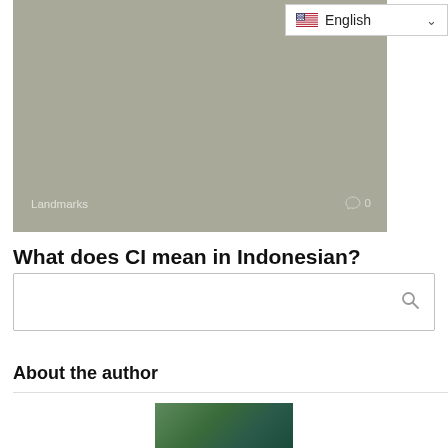[Figure (photo): Gray hero image area with 'Landmarks' label at bottom left and a comment icon with '0' at bottom right]
What does CI mean in Indonesian?
cici mean “older sister”. u can use the word cici to call ur older
[Figure (screenshot): Search input box with magnifying glass icon on the right]
About the author
[Figure (photo): Author photo — partial view of a person outdoors with trees in background]